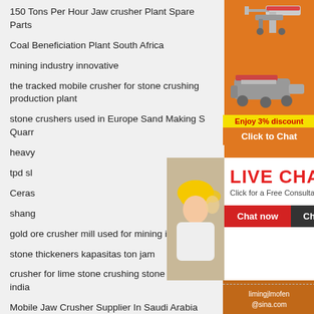150 Tons Per Hour Jaw crusher Plant Spare Parts
Coal Beneficiation Plant South Africa
mining industry innovative
the tracked mobile crusher for stone crushing production plant
stone crushers used in Europe Sand Making S... Quarr...
heavy...
tpd sl...
Ceras...
shang...
gold ore crusher mill used for mining in Zimba...
stone thickeners kapasitas ton jam
crusher for lime stone crushing stone quarry p... india
Mobile Jaw Crusher Supplier In Saudi Arabia
moinho de bolas cimento
[Figure (screenshot): Live chat overlay with construction workers photo, red 'LIVE CHAT' heading, 'Click for a Free Consultation' text, and Chat now / Chat later buttons]
[Figure (illustration): Orange sidebar with machinery images, 'Enjoy 3% discount', 'Click to Chat', 'Enquiry', and 'limingjlmofen@sina.com' contact info]